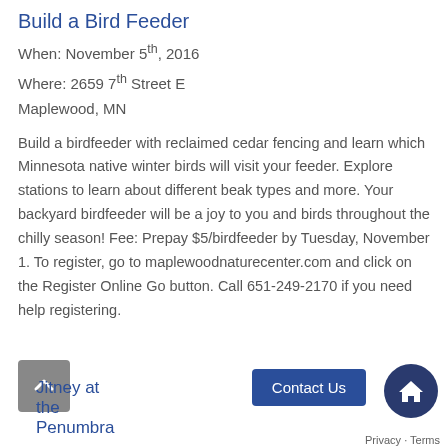Build a Bird Feeder
When: November 5th, 2016
Where: 2659 7th Street E
Maplewood, MN
Build a birdfeeder with reclaimed cedar fencing and learn which Minnesota native winter birds will visit your feeder. Explore stations to learn about different beak types and more. Your backyard birdfeeder will be a joy to you and birds throughout the chilly season! Fee: Prepay $5/birdfeeder by Tuesday, November 1. To register, go to maplewoodnaturecenter.com and click on the Register Online Go button. Call 651-249-2170 if you need help registering.
Jitney at the Penumbra